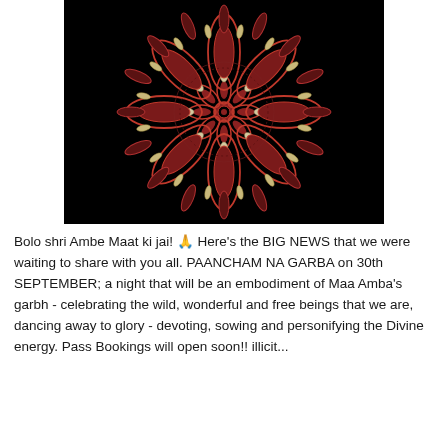[Figure (illustration): A detailed mandala illustration on a black background. The mandala features intricate red/dark-red petal and leaf patterns radiating symmetrically from the center, with cream/ivory accents, creating a floral, decorative design.]
Bolo shri Ambe Maat ki jai! 🙏 Here's the BIG NEWS that we were waiting to share with you all. PAANCHAM NA GARBA on 30th SEPTEMBER; a night that will be an embodiment of Maa Amba's garbh - celebrating the wild, wonderful and free beings that we are, dancing away to glory - devoting, sowing and personifying the Divine energy. Pass Bookings will open soon!! illicit...